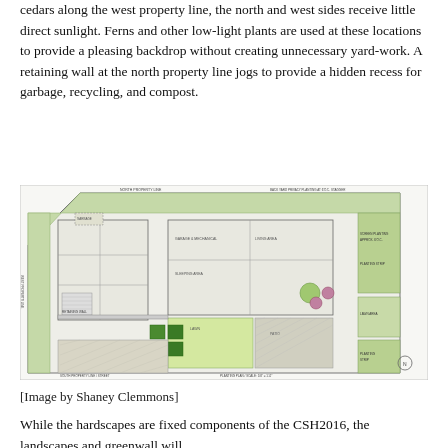cedars along the west property line, the north and west sides receive little direct sunlight. Ferns and other low-light plants are used at these locations to provide a pleasing backdrop without creating unnecessary yard-work. A retaining wall at the north property line jogs to provide a hidden recess for garbage, recycling, and compost.
[Figure (schematic): Landscape architectural plan drawing showing a residential property with building footprint, plantings, hardscape, green areas, retaining walls, and labeled elements. The plan is drawn in a technical style with green shading for planted areas and annotations.]
[Image by Shaney Clemmons]
While the hardscapes are fixed components of the CSH2016, the landscapes and greenwall will